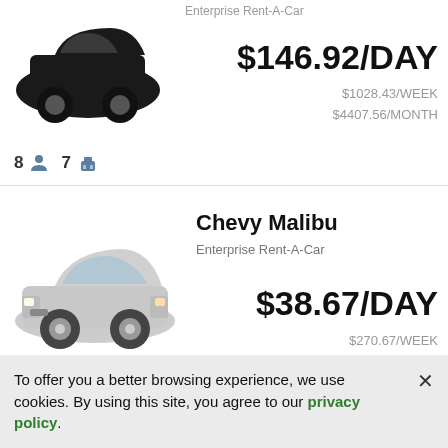Enterprise Rent-A-Car
$146.92/DAY
$1028.43/WEEK
$4407.56/MONTH
8  7
Chevy Malibu
Enterprise Rent-A-Car
$38.67/DAY
$270.67/WEEK
$1160.0/MONTH
To offer you a better browsing experience, we use cookies. By using this site, you agree to our privacy policy.